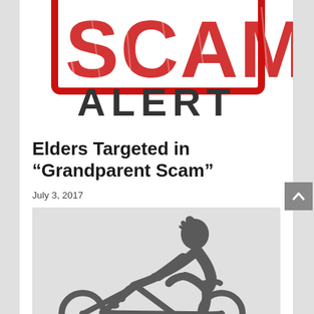[Figure (illustration): Scam Alert banner image with red stamp-style 'SCAM' text and bold black 'ALERT' text below it on white background]
Elders Targeted in “Grandparent Scam”
July 3, 2017
[Figure (illustration): Cyclist icon — a grey silhouette of a person riding a road bicycle, leaning forward in racing position, on a light grey background]